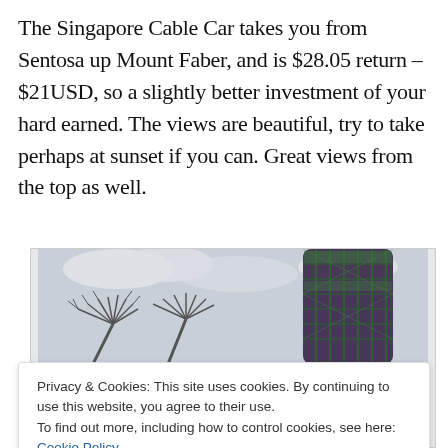The Singapore Cable Car takes you from Sentosa up Mount Faber, and is $28.05 return – $21USD, so a slightly better investment of your hard earned. The views are beautiful, try to take perhaps at sunset if you can. Great views from the top as well.
[Figure (photo): Photo of Singapore Supertrees (Gardens by the Bay) against a cloudy sky, with the large purple/green Supertree structure dominating the right side and smaller tree-like structures on the left.]
Privacy & Cookies: This site uses cookies. By continuing to use this website, you agree to their use.
To find out more, including how to control cookies, see here: Cookie Policy
Close and accept